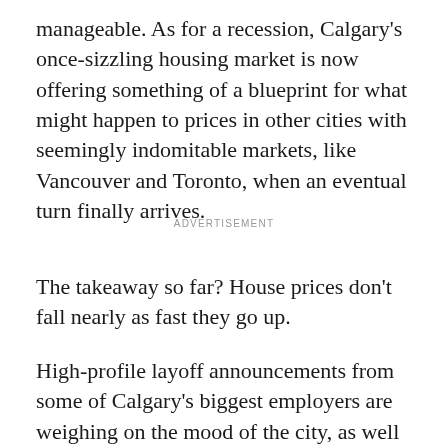manageable. As for a recession, Calgary's once-sizzling housing market is now offering something of a blueprint for what might happen to prices in other cities with seemingly indomitable markets, like Vancouver and Toronto, when an eventual turn finally arrives.
ADVERTISEMENT
The takeaway so far? House prices don't fall nearly as fast they go up.
High-profile layoff announcements from some of Calgary's biggest employers are weighing on the mood of the city, as well as expectations for its real estate market. At some point, the thinking goes, the ramifications of thousands of job losses will surely